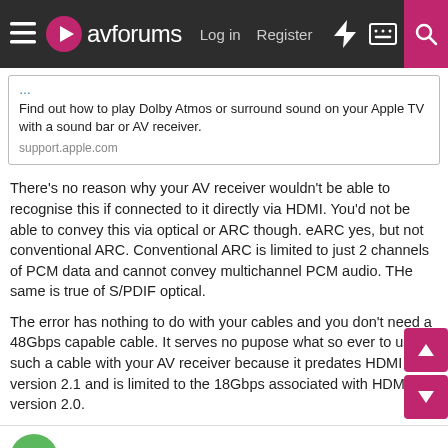avforums — Log in  Register
Find out how to play Dolby Atmos or surround sound on your Apple TV with a sound bar or AV receiver.
support.apple.com
There's no reason why your AV receiver wouldn't be able to recognise this if connected to it directly via HDMI. You'd not be able to convey this via optical or ARC though. eARC yes, but not conventional ARC. Conventional ARC is limited to just 2 channels of PCM data and cannot convey multichannel PCM audio. THe same is true of S/PDIF optical.
The error has nothing to do with your cables and you don't need a 48Gbps capable cable. It serves no pupose what so ever to use such a cable with your AV receiver because it predates HDMI version 2.1 and is limited to the 18Gbps associated with HDMI version 2.0.
jontico